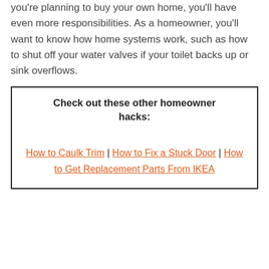you're planning to buy your own home, you'll have even more responsibilities. As a homeowner, you'll want to know how home systems work, such as how to shut off your water valves if your toilet backs up or sink overflows.
Check out these other homeowner hacks:

How to Caulk Trim | How to Fix a Stuck Door | How to Get Replacement Parts From IKEA